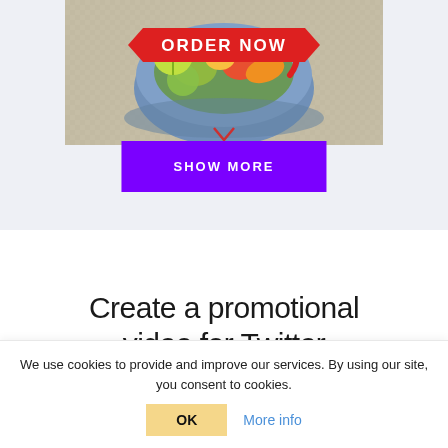[Figure (screenshot): Food bowl image with 'ORDER NOW' red banner and arrow, shown at top of page]
[Figure (screenshot): Purple 'SHOW MORE' button centered below food image]
Create a promotional video for Twitter
We use cookies to provide and improve our services. By using our site, you consent to cookies.
OK   More info